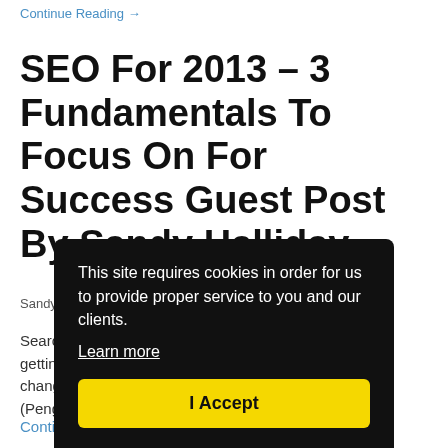Continue Reading →
SEO For 2013 – 3 Fundamentals To Focus On For Success Guest Post By Sandy Halliday
Sandy Halliday  |  0 Comments
Search engine optimization is still an important factor in getting lots of traffic to your site and with Google's ever changing algorithms i... fundamenta... of different o... (Penguin, P...
Continue R...
This site requires cookies in order for us to provide proper service to you and our clients.
Learn more
I Accept